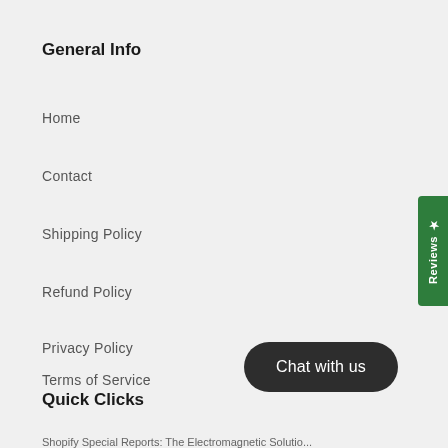General Info
Home
Contact
Shipping Policy
Refund Policy
Privacy Policy
Terms of Service
Quick Clicks
[Figure (other): Green vertical Reviews tab with star icon on right edge]
[Figure (other): Dark rounded Chat with us button]
Shopify Special Reports: The Electromagnetic Solution...